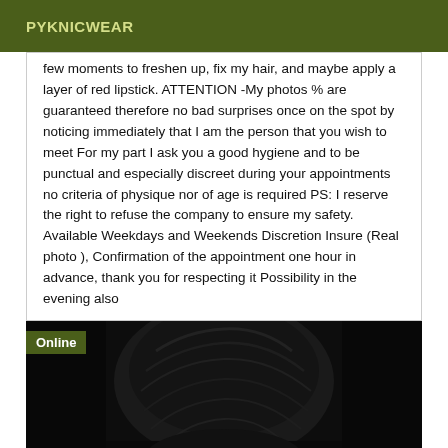PYKNICWEAR
few moments to freshen up, fix my hair, and maybe apply a layer of red lipstick. ATTENTION -My photos % are guaranteed therefore no bad surprises once on the spot by noticing immediately that I am the person that you wish to meet For my part I ask you a good hygiene and to be punctual and especially discreet during your appointments no criteria of physique nor of age is required PS: I reserve the right to refuse the company to ensure my safety. Available Weekdays and Weekends Discretion Insure (Real photo ), Confirmation of the appointment one hour in advance, thank you for respecting it Possibility in the evening also
[Figure (photo): Dark image showing the top/back of a person's head with dark hair, mostly black background. An 'Online' badge is overlaid on the top-left.]